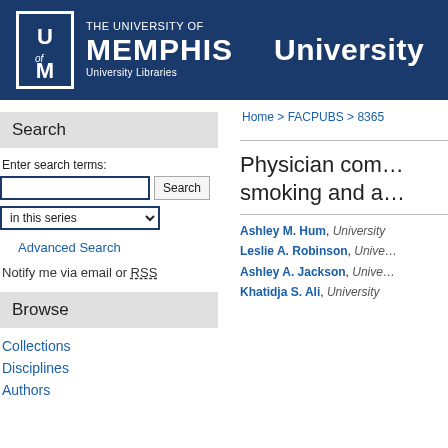THE UNIVERSITY OF MEMPHIS — University Libraries | University
Search
Enter search terms:
in this series
Advanced Search
Notify me via email or RSS
Browse
Collections
Disciplines
Authors
Home > FACPUBS > 8365
Physician com… smoking and a…
Ashley M. Hum, University…; Leslie A. Robinson, Unive…; Ashley A. Jackson, Unive…; Khatidja S. Ali, University…